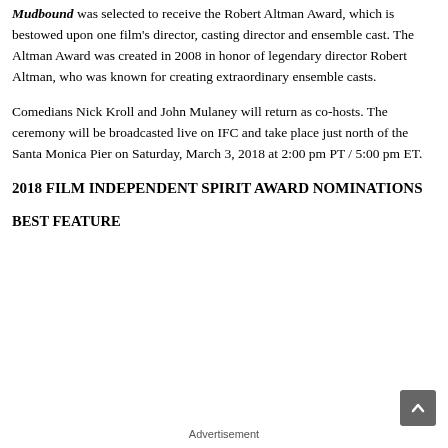Mudbound was selected to receive the Robert Altman Award, which is bestowed upon one film's director, casting director and ensemble cast. The Altman Award was created in 2008 in honor of legendary director Robert Altman, who was known for creating extraordinary ensemble casts.
Comedians Nick Kroll and John Mulaney will return as co-hosts. The ceremony will be broadcasted live on IFC and take place just north of the Santa Monica Pier on Saturday, March 3, 2018 at 2:00 pm PT / 5:00 pm ET.
2018 FILM INDEPENDENT SPIRIT AWARD NOMINATIONS
BEST FEATURE
Advertisement